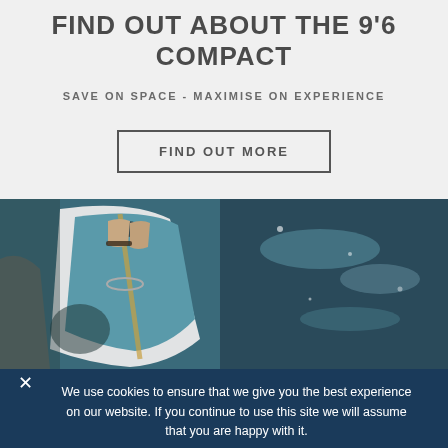FIND OUT ABOUT THE 9'6 COMPACT
SAVE ON SPACE - MAXIMISE ON EXPERIENCE
FIND OUT MORE
[Figure (photo): Close-up photo of a person's feet standing on a paddleboard on water, showing teal/blue paddleboard with white edges and rope, water visible around the board]
We use cookies to ensure that we give you the best experience on our website. If you continue to use this site we will assume that you are happy with it.
Ok
Privacy policy